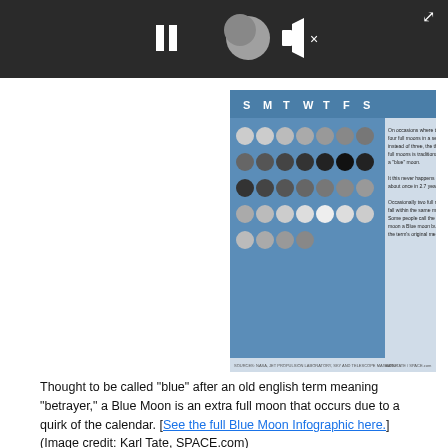[Figure (screenshot): Video player bar with dark background showing pause button, a moon phase image with video controls (expand icon at top right corner)]
[Figure (infographic): Blue moon phase calendar infographic showing moon phases across days of the week (S M T W T F S) with accompanying text about Blue Moon occurrences. Source: NASA, Jet Propulsion Laboratory, Sky and Telescope Magazine. Credit: Karl Tate / SPACE.com]
Thought to be called "blue" after an old english term meaning "betrayer," a Blue Moon is an extra full moon that occurs due to a quirk of the calendar. [See the full Blue Moon Infographic here.] (Image credit: Karl Tate, SPACE.com)
Another name for this month's full moon is the Full Red Moon, because the weather and atmospheric conditions during this season can often make the moon look reddish when it rises through a haze.
Advertisement